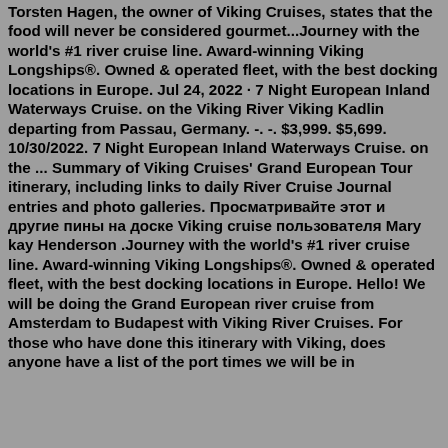Torsten Hagen, the owner of Viking Cruises, states that the food will never be considered gourmet...Journey with the world's #1 river cruise line. Award-winning Viking Longships®. Owned & operated fleet, with the best docking locations in Europe. Jul 24, 2022 · 7 Night European Inland Waterways Cruise. on the Viking River Viking Kadlin departing from Passau, Germany. -. -. $3,999. $5,699. 10/30/2022. 7 Night European Inland Waterways Cruise. on the ... Summary of Viking Cruises' Grand European Tour itinerary, including links to daily River Cruise Journal entries and photo galleries. Просматривайте этот и другие пины на доске Viking cruise пользователя Mary kay Henderson .Journey with the world's #1 river cruise line. Award-winning Viking Longships®. Owned & operated fleet, with the best docking locations in Europe. Hello! We will be doing the Grand European river cruise from Amsterdam to Budapest with Viking River Cruises. For those who have done this itinerary with Viking, does anyone have a list of the port times we will be in